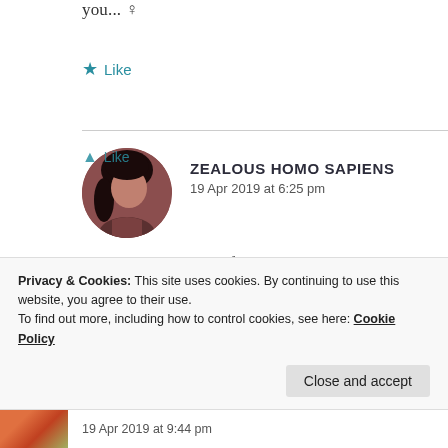you... ♀
★ Like
ZEALOUS HOMO SAPIENS
19 Apr 2019 at 6:25 pm
Thank you so much for your best wishes!
★ Like
Privacy & Cookies: This site uses cookies. By continuing to use this website, you agree to their use.
To find out more, including how to control cookies, see here: Cookie Policy
Close and accept
19 Apr 2019 at 9:44 pm